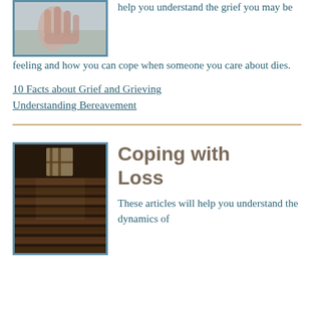[Figure (photo): Partial photo showing a hand or fingers, with gray/neutral background, bordered in blue]
help you understand the grief you may be feeling and how you can cope when someone you care about dies.
10 Facts about Grief and Grieving
Understanding Bereavement
[Figure (photo): Photo of wooden church pews in a dark interior with window light, suggesting a chapel or funeral setting]
Coping with Loss
These articles will help you understand the dynamics of